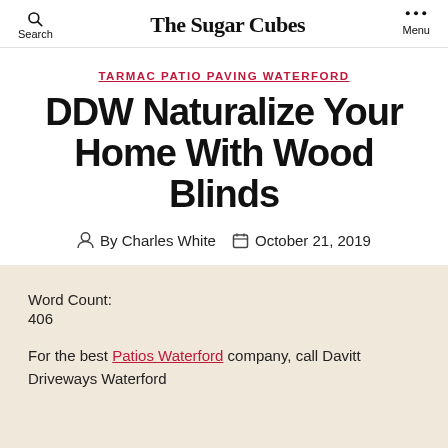The Sugar Cubes
TARMAC PATIO PAVING WATERFORD
DDW Naturalize Your Home With Wood Blinds
By Charles White   October 21, 2019
Word Count:
406
For the best Patios Waterford company, call Davitt Driveways Waterford